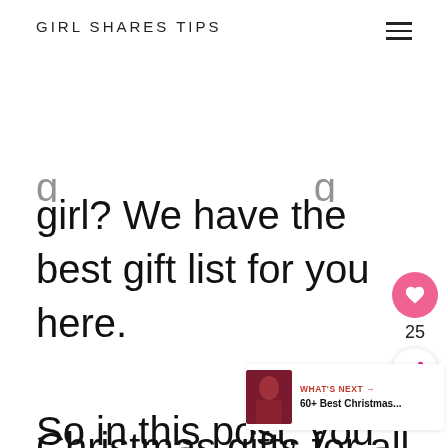GIRL SHARES TIPS
girl? We have the best gift list for you here.
So in this post, you can find cute Christmas gifts for college girls, thoughtful Christmas gifts for all...